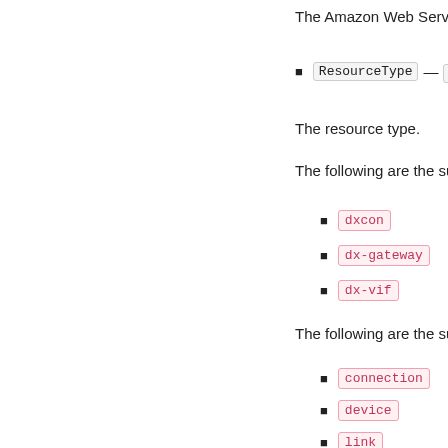The Amazon Web Services account ID.
ResourceType — (String)
The resource type.
The following are the supported resource types
dxcon
dx-gateway
dx-vif
The following are the supported resource types
connection
device
link
site
The following are the supported resource types